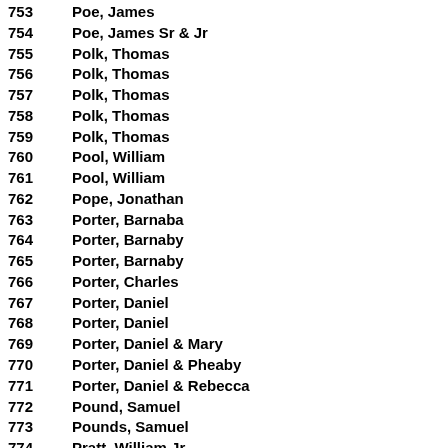753  Poe, James
754  Poe, James Sr & Jr
755  Polk, Thomas
756  Polk, Thomas
757  Polk, Thomas
758  Polk, Thomas
759  Polk, Thomas
760  Pool, William
761  Pool, William
762  Pope, Jonathan
763  Porter, Barnaba
764  Porter, Barnaby
765  Porter, Barnaby
766  Porter, Charles
767  Porter, Daniel
768  Porter, Daniel
769  Porter, Daniel & Mary
770  Porter, Daniel & Pheaby
771  Porter, Daniel & Rebecca
772  Pound, Samuel
773  Pounds, Samuel
774  Pratt, William Jr
775  Prescot, Rachel
776  Prescote, Rachel
777  Preslar, Elias
778  Preslar, Elias
779  Preslar, Elias